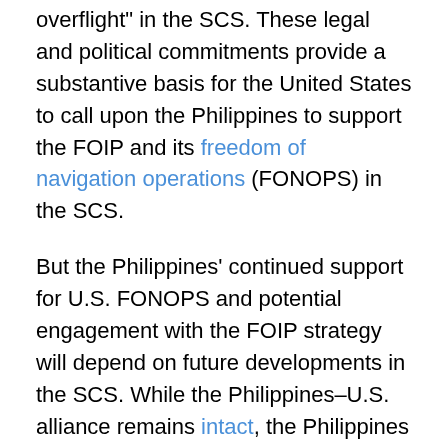overflight" in the SCS. These legal and political commitments provide a substantive basis for the United States to call upon the Philippines to support the FOIP and its freedom of navigation operations (FONOPS) in the SCS.
But the Philippines' continued support for U.S. FONOPS and potential engagement with the FOIP strategy will depend on future developments in the SCS. While the Philippines–U.S. alliance remains intact, the Philippines still seeks to defuse tensions in the SCS and promote closer economic ties with Beijing.
The Philippines has communicated to China certain red lines in the SCS that it should not cross. These include the construction of Chinese facilities on Scarborough Shoal, any attempt to remove the BRP Sierra Madre (a grounded ship that the Philippine Navy uses as a military outpost) from Second Thomas Shoal, any attempt to harass Filipino soldiers on resupply or repair missions, and unilateral